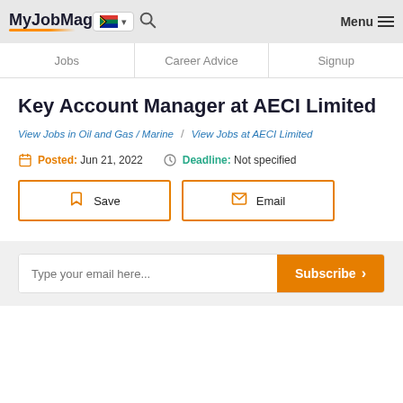MyJobMag — Jobs | Career Advice | Signup
Key Account Manager at AECI Limited
View Jobs in Oil and Gas / Marine  /  View Jobs at AECI Limited
Posted: Jun 21, 2022   Deadline: Not specified
Save   Email
Type your email here... Subscribe